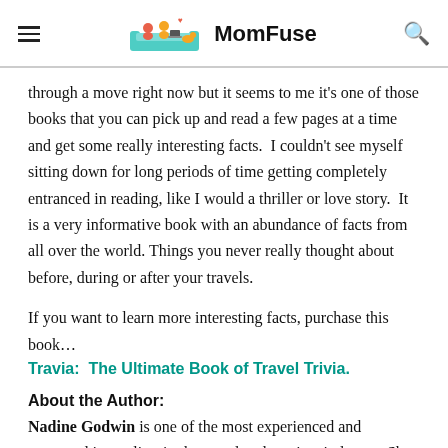MomFuse
through a move right now but it seems to me it's one of those books that you can pick up and read a few pages at a time and get some really interesting facts.  I couldn't see myself sitting down for long periods of time getting completely entranced in reading, like I would a thriller or love story.  It is a very informative book with an abundance of facts from all over the world. Things you never really thought about before, during or after your travels.
If you want to learn more interesting facts, purchase this book…
Travia:  The Ultimate Book of Travel Trivia.
About the Author:
Nadine Godwin is one of the most experienced and respected journalists in the travel and tourism industry.  She began 34 yrs ago